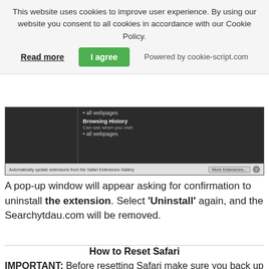This website uses cookies to improve user experience. By using our website you consent to all cookies in accordance with our Cookie Policy.
Read more   I agree   Powered by cookie-script.com
[Figure (screenshot): Safari Extensions preferences window showing dark interface with 'Browsing History' section listing 'Can see when you visit: all webpages', and bottom bar with 'Automatically update extensions from the Safari Extensions Gallery' checkbox and 'More Extensions...' button]
A pop-up window will appear asking for confirmation to uninstall the extension. Select 'Uninstall' again, and the Searchytdau.com will be removed.
How to Reset Safari
IMPORTANT: Before resetting Safari make sure you back up all your saved passwords within the browser in